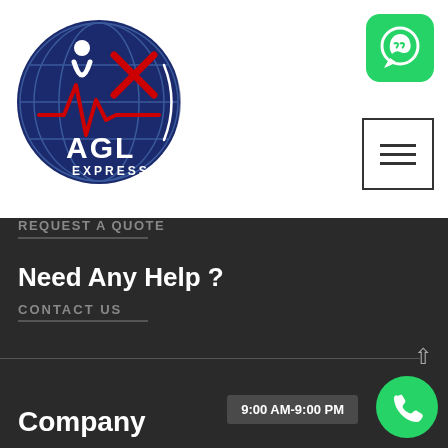[Figure (logo): AGL Express circular logo with globe, red ECG line and X mark on dark navy blue background with white text]
[Figure (logo): WhatsApp green rounded square icon with white speech bubble phone logo]
[Figure (other): Hamburger menu icon - three horizontal lines in a square border]
REQUEST A QUOTE
Need Any Help ?
CONTACT US
Company
9:00 AM-9:00 PM
[Figure (other): Green circular phone call button icon]